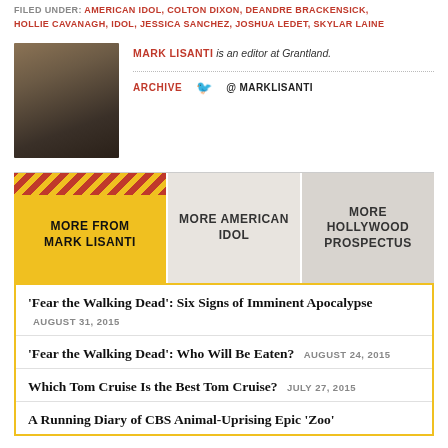FILED UNDER: AMERICAN IDOL, COLTON DIXON, DEANDRE BRACKENSICK, HOLLIE CAVANAGH, IDOL, JESSICA SANCHEZ, JOSHUA LEDET, SKYLAR LAINE
MARK LISANTI is an editor at Grantland.
ARCHIVE  @ MARKLISANTI
MORE FROM MARK LISANTI
MORE AMERICAN IDOL
MORE HOLLYWOOD PROSPECTUS
'Fear the Walking Dead': Six Signs of Imminent Apocalypse  AUGUST 31, 2015
'Fear the Walking Dead': Who Will Be Eaten?  AUGUST 24, 2015
Which Tom Cruise Is the Best Tom Cruise?  JULY 27, 2015
A Running Diary of CBS Animal-Uprising Epic 'Zoo'